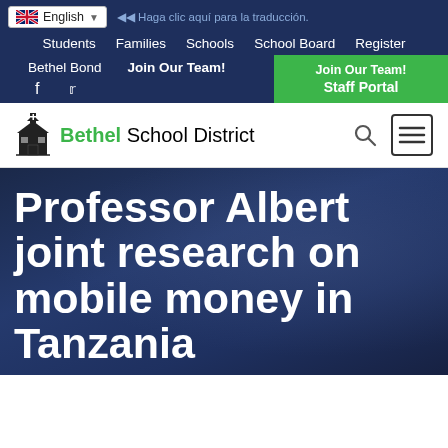English | ◁◁ Haga clic aquí para la traducción. | Students | Families | Schools | School Board | Register | Bethel Bond | Join Our Team! | Staff Portal | f | t
[Figure (logo): Bethel School District logo with church/school building icon]
Professor Albert joint research on mobile money in Tanzania